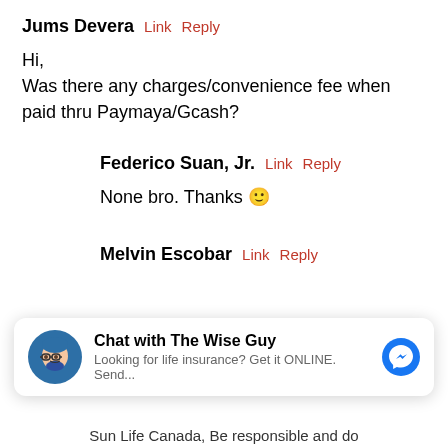Jums Devera  Link  Reply
Hi,
Was there any charges/convenience fee when paid thru Paymaya/Gcash?
Federico Suan, Jr.  Link  Reply
None bro. Thanks 🙂
Melvin Escobar  Link  Reply
[Figure (other): Chat widget: Chat with The Wise Guy. Looking for life insurance? Get it ONLINE. Send... with Messenger icon.]
Sun Life Canada, Be responsible and do